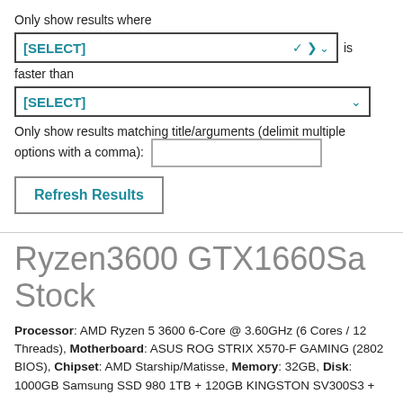Only show results where
[SELECT]  is
faster than
[SELECT]
Only show results matching title/arguments (delimit multiple options with a comma):
Refresh Results
Ryzen3600 GTX1660Sa Stock
Processor: AMD Ryzen 5 3600 6-Core @ 3.60GHz (6 Cores / 12 Threads), Motherboard: ASUS ROG STRIX X570-F GAMING (2802 BIOS), Chipset: AMD Starship/Matisse, Memory: 32GB, Disk: 1000GB Samsung SSD 980 1TB + 120GB KINGSTON SV300S3 +